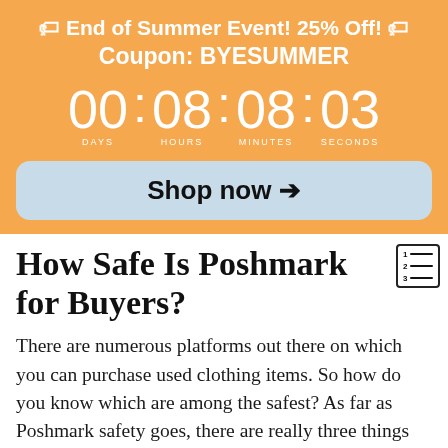🏷 End of Summer Event! 25% Off! 🏷 Coupon: BYESUMMER
00 : 08 : 08 : 03 DAYS HOURS MINUTES SECONDS
Shop now →
How Safe Is Poshmark for Buyers?
There are numerous platforms out there on which you can purchase used clothing items. So how do you know which are among the safest? As far as Poshmark safety goes, there are really three things you need to keep in mind for each buyer's side of things and